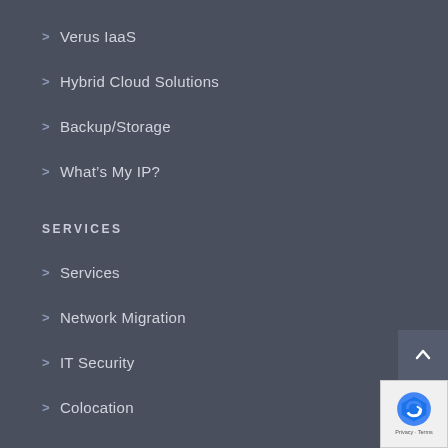Verus IaaS
Hybrid Cloud Solutions
Backup/Storage
What's My IP?
SERVICES
Services
Network Migration
IT Security
Colocation
Servers